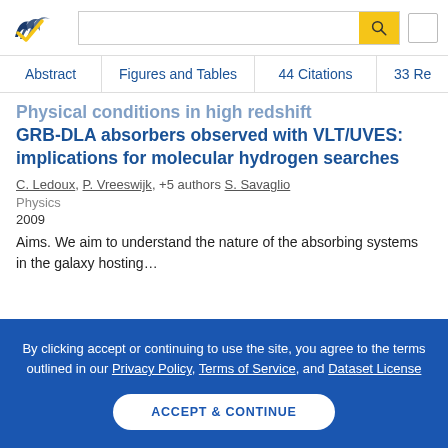Semantic Scholar — search bar and navigation
Abstract | Figures and Tables | 44 Citations | 33 Re
Physical conditions in high redshift GRB-DLA absorbers observed with VLT/UVES: implications for molecular hydrogen searches
C. Ledoux, P. Vreeswijk, +5 authors S. Savaglio
Physics
2009
Aims. We aim to understand the nature of the absorbing systems in the galaxy hosting...
By clicking accept or continuing to use the site, you agree to the terms outlined in our Privacy Policy, Terms of Service, and Dataset License
ACCEPT & CONTINUE